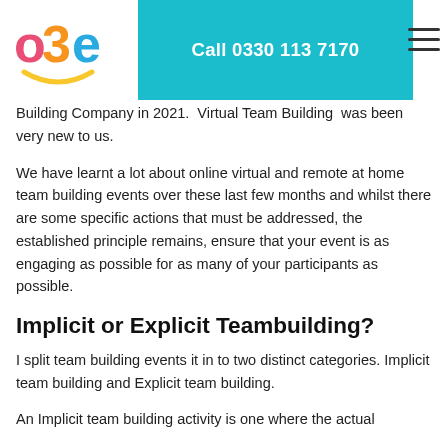o3e | Call 0330 113 7170
Building Company in 2021.  Virtual Team Building  was been very new to us.
We have learnt a lot about online virtual and remote at home team building events over these last few months and whilst there are some specific actions that must be addressed, the established principle remains, ensure that your event is as engaging as possible for as many of your participants as possible.
Implicit or Explicit Teambuilding?
I split team building events it in to two distinct categories. Implicit team building and Explicit team building.
An Implicit team building activity is one where the actual